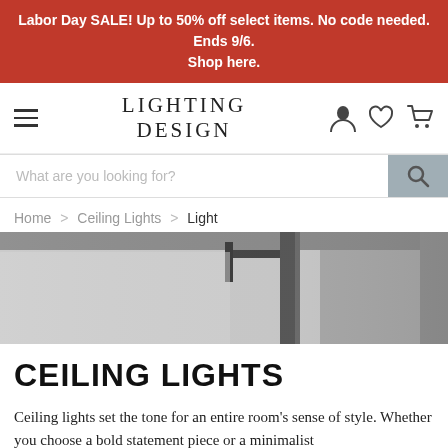Labor Day SALE! Up to 50% off select items. No code needed. Ends 9/6. Shop here.
[Figure (screenshot): Website header with hamburger menu on left, 'LIGHTING DESIGN' brand name in center, and user/wishlist/cart icons on right]
[Figure (screenshot): Search bar with placeholder text 'What are you looking for?' and a search button with magnifying glass icon on the right]
Home > Ceiling Lights > Light
[Figure (photo): Banner photo showing ceiling lights in a room setting, grayscale/muted tones]
CEILING LIGHTS
Ceiling lights set the tone for an entire room's sense of style. Whether you choose a bold statement piece or a minimalist